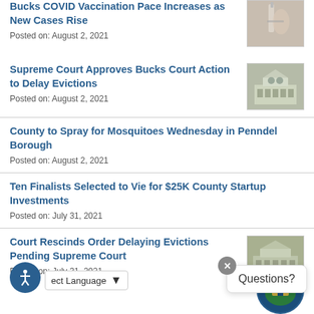Bucks COVID Vaccination Pace Increases as New Cases Rise
Posted on: August 2, 2021
Supreme Court Approves Bucks Court Action to Delay Evictions
Posted on: August 2, 2021
County to Spray for Mosquitoes Wednesday in Penndel Borough
Posted on: August 2, 2021
Ten Finalists Selected to Vie for $25K County Startup Investments
Posted on: July 31, 2021
Court Rescinds Order Delaying Evictions Pending Supreme Court
Posted on: July 31, 2021